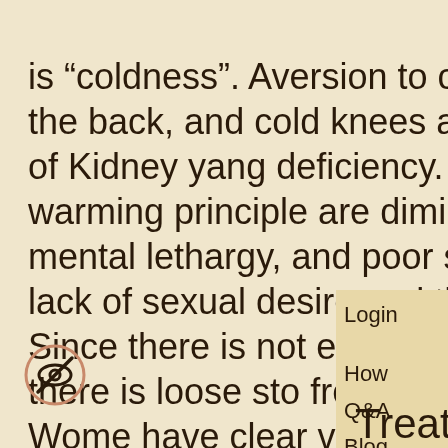is “coldness”. Aversion to cold, sensation of cold in the back, and cold knees are all typical symptoms of Kidney yang deficiency. As the force and warming principle are diminished lassitude, mental lethargy, and poor spirit manifest. There is lack of sexual desire and there may be sterility. Since there is not enough ene to hold and contain there is loose sto frequent urination and edema. Wome have clear vaginal discharge, and the menses may be irregular.  (2)
Login
How
Q&A
Blog
[Figure (illustration): Eye with a line through it icon inside a circle, representing hidden/privacy symbol]
Treatment